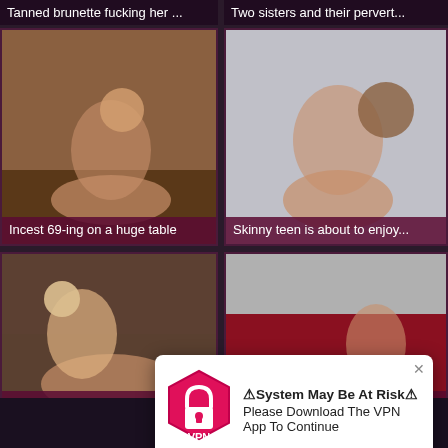Tanned brunette fucking her ...
Two sisters and their pervert...
[Figure (photo): Video thumbnail - couple on floor]
Incest 69-ing on a huge table
[Figure (photo): Video thumbnail - two women]
Skinny teen is about to enjoy...
[Figure (photo): Video thumbnail - couple on bed]
POV in...
...with a Porn...
⚠System May Be At Risk⚠
Please Download The VPN App To Continue